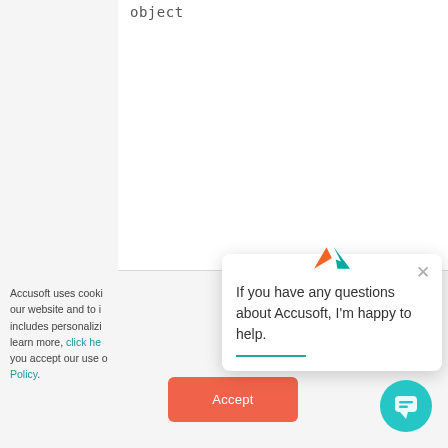object
Accusoft uses cooki our website and to i includes personalizi learn more, click he you accept our use o Policy.
[Figure (screenshot): Accept cookies button with orange/coral background and white 'Accept' text]
[Figure (infographic): Chat popup overlay with Accusoft logo, close X button, and text 'If you have any questions about Accusoft, I'm happy to help.' with teal underline link below. A teal chat bubble icon in bottom right.]